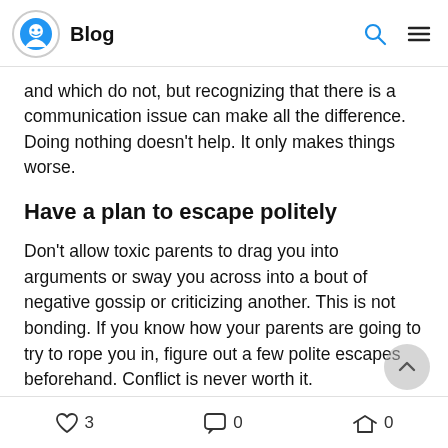Blog
and which do not, but recognizing that there is a communication issue can make all the difference. Doing nothing doesn't help. It only makes things worse.
Have a plan to escape politely
Don't allow toxic parents to drag you into arguments or sway you across into a bout of negative gossip or criticizing another. This is not bonding. If you know how your parents are going to try to rope you in, figure out a few polite escapes beforehand. Conflict is never worth it.
3   0   0